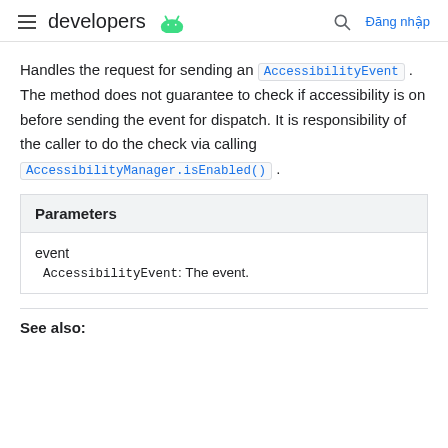developers [Android logo] | [search] | Đăng nhập
Handles the request for sending an AccessibilityEvent. The method does not guarantee to check if accessibility is on before sending the event for dispatch. It is responsibility of the caller to do the check via calling AccessibilityManager.isEnabled().
| Parameters |
| --- |
| event | AccessibilityEvent: The event. |
See also: